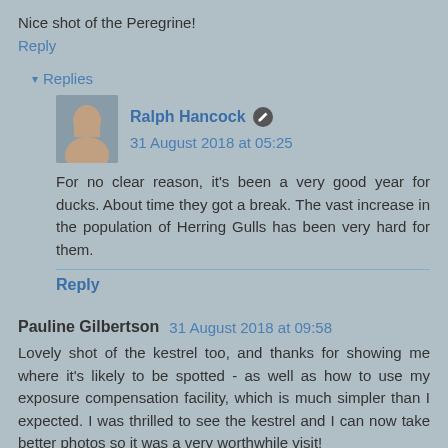Nice shot of the Peregrine!
Reply
▾ Replies
Ralph Hancock  31 August 2018 at 05:25
For no clear reason, it's been a very good year for ducks. About time they got a break. The vast increase in the population of Herring Gulls has been very hard for them.
Reply
Pauline Gilbertson  31 August 2018 at 09:58
Lovely shot of the kestrel too, and thanks for showing me where it's likely to be spotted - as well as how to use my exposure compensation facility, which is much simpler than I expected. I was thrilled to see the kestrel and I can now take better photos so it was a very worthwhile visit!